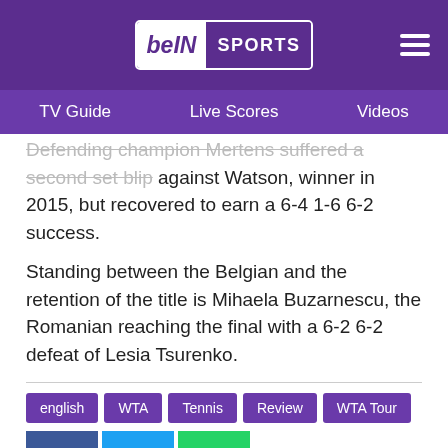beIN SPORTS
TV Guide   Live Scores   Videos
Defending champion Mertens suffered a second set blip against Watson, winner in 2015, but recovered to earn a 6-4 1-6 6-2 success.
Standing between the Belgian and the retention of the title is Mihaela Buzarnescu, the Romanian reaching the final with a 6-2 6-2 defeat of Lesia Tsurenko.
english
WTA
Tennis
Review
WTA Tour